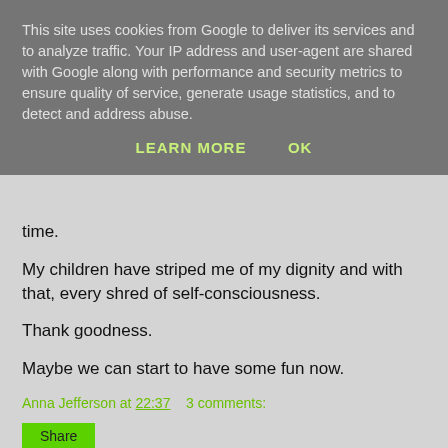This site uses cookies from Google to deliver its services and to analyze traffic. Your IP address and user-agent are shared with Google along with performance and security metrics to ensure quality of service, generate usage statistics, and to detect and address abuse.
LEARN MORE   OK
time.
My children have striped me of my dignity and with that, every shred of self-consciousness.
Thank goodness.
Maybe we can start to have some fun now.
Anna Jefferson at 22:37   3 comments:
Share
Sunday, 8 June 2014